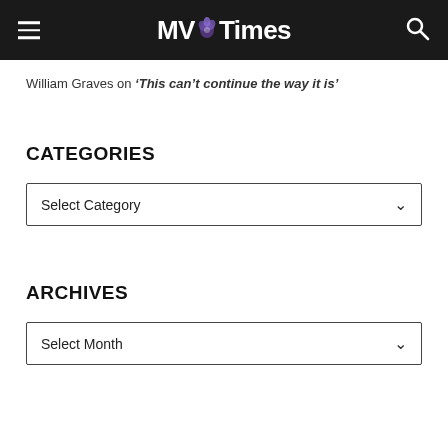MV Times
William Graves on ‘This can’t continue the way it is’
CATEGORIES
Select Category
ARCHIVES
Select Month